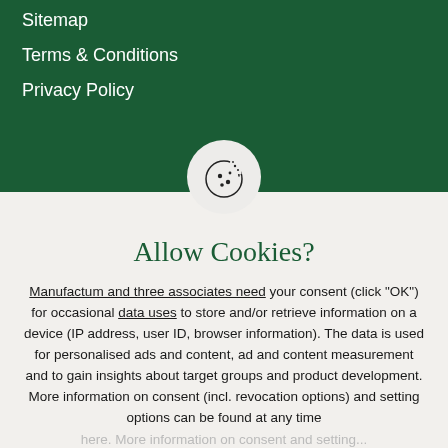Sitemap
Terms & Conditions
Privacy Policy
[Figure (illustration): Cookie icon (a cookie with a bite taken out and dots) inside a light circle]
Allow Cookies?
Manufactum and three associates need your consent (click "OK") for occasional data uses to store and/or retrieve information on a device (IP address, user ID, browser information). The data is used for personalised ads and content, ad and content measurement and to gain insights about target groups and product development. More information on consent (incl. revocation options) and setting options can be found at any time
OK
Reject Cookies	More information